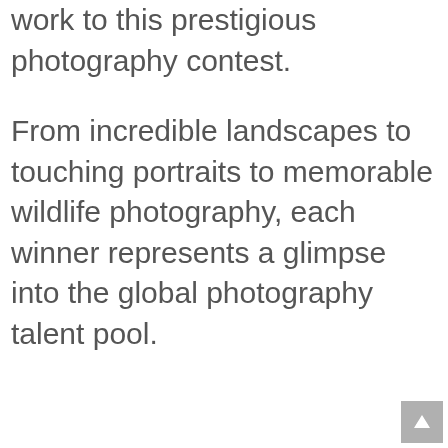work to this prestigious photography contest.

From incredible landscapes to touching portraits to memorable wildlife photography, each winner represents a glimpse into the global photography talent pool.